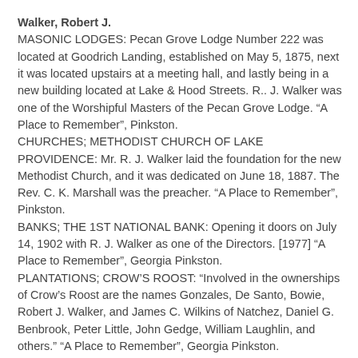Walker, Robert J. MASONIC LODGES: Pecan Grove Lodge Number 222 was located at Goodrich Landing, established on May 5, 1875, next it was located upstairs at a meeting hall, and lastly being in a new building located at Lake & Hood Streets. R.. J. Walker was one of the Worshipful Masters of the Pecan Grove Lodge. “A Place to Remember”, Pinkston. CHURCHES; METHODIST CHURCH OF LAKE PROVIDENCE: Mr. R. J. Walker laid the foundation for the new Methodist Church, and it was dedicated on June 18, 1887. The Rev. C. K. Marshall was the preacher. “A Place to Remember”, Pinkston. BANKS; THE 1ST NATIONAL BANK: Opening it doors on July 14, 1902 with R. J. Walker as one of the Directors. [1977] “A Place to Remember”, Georgia Pinkston. PLANTATIONS; CROW’S ROOST: “Involved in the ownerships of Crow’s Roost are the names Gonzales, De Santo, Bowie, Robert J. Walker, and James C. Wilkins of Natchez, Daniel G. Benbrook, Peter Little, John Gedge, William Laughlin, and others.” “A Place to Remember”, Georgia Pinkston.